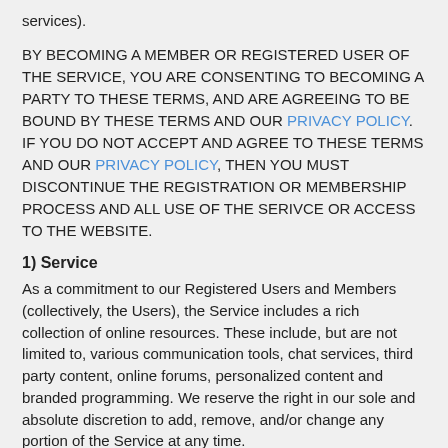services).
BY BECOMING A MEMBER OR REGISTERED USER OF THE SERVICE, YOU ARE CONSENTING TO BECOMING A PARTY TO THESE TERMS, AND ARE AGREEING TO BE BOUND BY THESE TERMS AND OUR PRIVACY POLICY. IF YOU DO NOT ACCEPT AND AGREE TO THESE TERMS AND OUR PRIVACY POLICY, THEN YOU MUST DISCONTINUE THE REGISTRATION OR MEMBERSHIP PROCESS AND ALL USE OF THE SERIVCE OR ACCESS TO THE WEBSITE.
1) Service
As a commitment to our Registered Users and Members (collectively, the Users), the Service includes a rich collection of online resources. These include, but are not limited to, various communication tools, chat services, third party content, online forums, personalized content and branded programming. We reserve the right in our sole and absolute discretion to add, remove, and/or change any portion of the Service at any time.
Registered Users are able to access a limited set of the Service's features without charge after providing the required registration information. Members are given access to all features included as part of the membership option chosen when applying for the